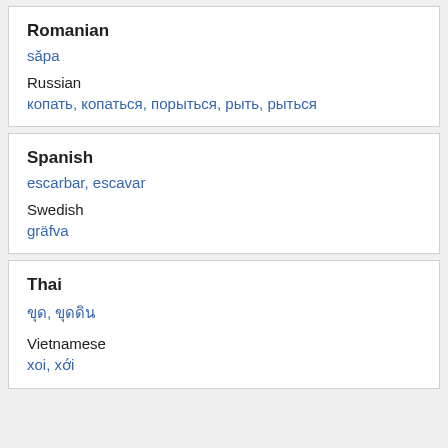Romanian
săpa
Russian
копать, копаться, порыться, рыть, рыться
Spanish
escarbar, escavar
Swedish
gräfva
Thai
ขุด, ขุดดิน
Vietnamese
xoi, xới